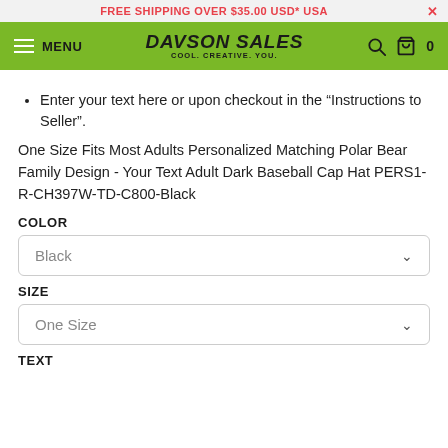FREE SHIPPING OVER $35.00 USD* USA
DAVSON SALES COOL. CREATIVE. YOU.
Enter your text here or upon checkout in the "Instructions to Seller".
One Size Fits Most Adults Personalized Matching Polar Bear Family Design - Your Text Adult Dark Baseball Cap Hat PERS1-R-CH397W-TD-C800-Black
COLOR
Black
SIZE
One Size
TEXT